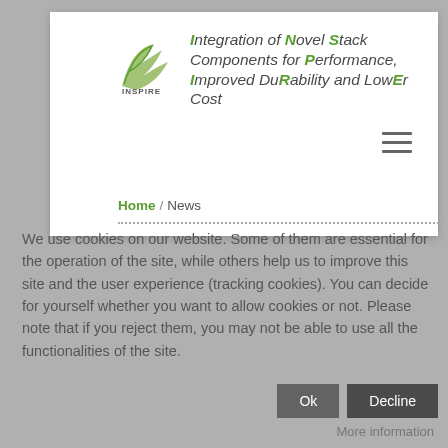[Figure (logo): INSPIRE project logo: stylized wing/flame shape in grey-green with 'INSPIRE' text below]
Integration of Novel Stack Components for Performance, Improved DuRability and LowEr Cost
Home / News
We use cookies on our website. Some of them are essential for the operation of the site, while others help us to improve this site and the user experience (tracking cookies). You can decide for yourself whether you want to allow cookies or not. Please note that if you reject them, you may not be able to use all the functionalities of the site.